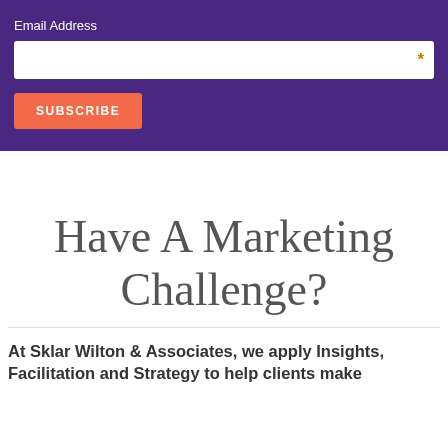Email Address
SUBSCRIBE
Have A Marketing Challenge?
At Sklar Wilton & Associates, we apply Insights, Facilitation and Strategy to help clients make